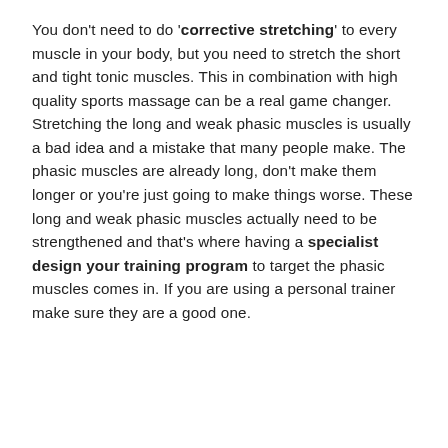You don't need to do 'corrective stretching' to every muscle in your body, but you need to stretch the short and tight tonic muscles. This in combination with high quality sports massage can be a real game changer. Stretching the long and weak phasic muscles is usually a bad idea and a mistake that many people make. The phasic muscles are already long, don't make them longer or you're just going to make things worse. These long and weak phasic muscles actually need to be strengthened and that's where having a specialist design your training program to target the phasic muscles comes in. If you are using a personal trainer make sure they are a good one.